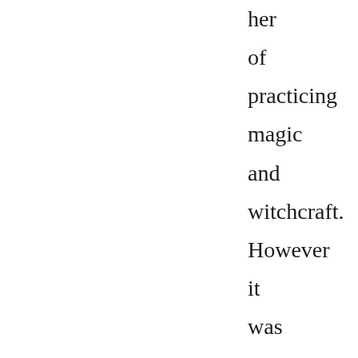her of practicing magic and witchcraft. However it was not her, but the Ummites who were trying to isolate what they thought